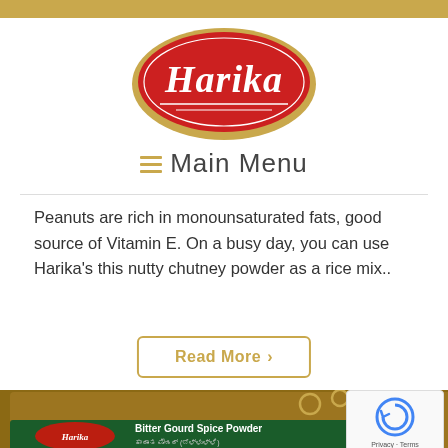[Figure (logo): Harika brand logo: red oval with white serif text 'Harika' and gold border with decorative lines]
☰  Main Menu
Peanuts are rich in monounsaturated fats, good source of Vitamin E. On a busy day, you can use Harika's this nutty chutney powder as a rice mix..
Read More >
[Figure (photo): Photo of Harika Bitter Gourd Spice Powder product packaging showing spice powder with bitter gourd slices]